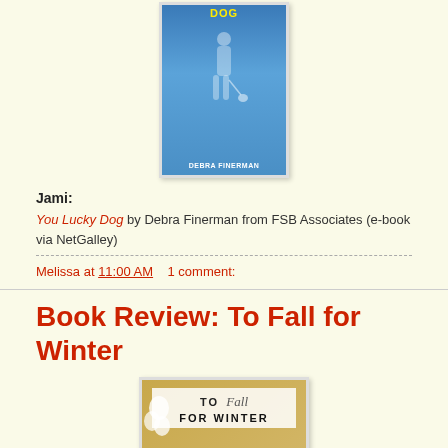[Figure (illustration): Book cover of 'You Lucky Dog' by Debra Finerman — blue cover with a woman walking a small white dog]
Jami:
You Lucky Dog by Debra Finerman from FSB Associates (e-book via NetGalley)
Melissa at 11:00 AM    1 comment:
Book Review: To Fall for Winter
[Figure (illustration): Book cover of 'To Fall for Winter' — tan/gold background with white flowers and a sign reading 'TO Fall FOR WINTER']